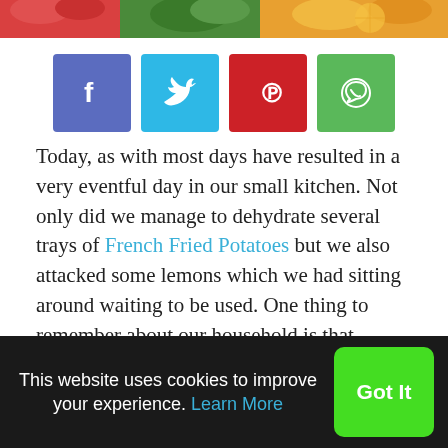[Figure (photo): Partial top strip showing colorful fruits/vegetables — strawberries, broccoli, citrus slices]
[Figure (infographic): Social share buttons: Facebook (blue-purple), Twitter (light blue), Pinterest (red), WhatsApp (green)]
Today, as with most days have resulted in a very eventful day in our small kitchen. Not only did we manage to dehydrate several trays of French Fried Potatoes but we also attacked some lemons which we had sitting around waiting to be used. One thing to remember about our household is that nothing ever goes to waste here. If it can not be eaten at the time, it becomes a candidate for canning, dehydrating or for freezing. If we happen to purchase a bit too much of a product when it is on sale we will preserve the remainder for those times when food might be more expensive and hard to obtain.
This website uses cookies to improve your experience. Learn More